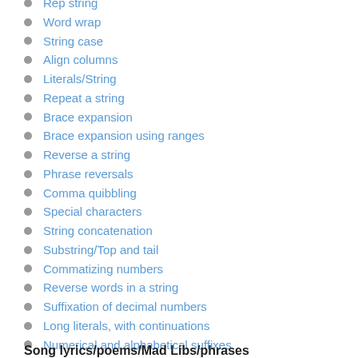Rep string
Word wrap
String case
Align columns
Literals/String
Repeat a string
Brace expansion
Brace expansion using ranges
Reverse a string
Phrase reversals
Comma quibbling
Special characters
String concatenation
Substring/Top and tail
Commatizing numbers
Reverse words in a string
Suffixation of decimal numbers
Long literals, with continuations
Numerical and alphabetical suffixes
Abbreviations, easy
Abbreviations, simple
Abbreviations, automatic
Song lyrics/poems/Mad Libs/phrases